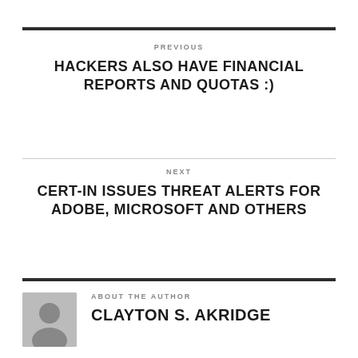PREVIOUS
HACKERS ALSO HAVE FINANCIAL REPORTS AND QUOTAS :)
NEXT
CERT-IN ISSUES THREAT ALERTS FOR ADOBE, MICROSOFT AND OTHERS
ABOUT THE AUTHOR
CLAYTON S. AKRIDGE